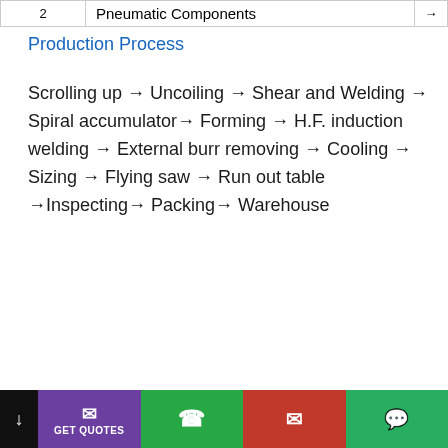|  | Pneumatic Components |  |
| --- | --- | --- |
| 2 | Pneumatic Components | → |
Production Process
Scrolling up → Uncoiling → Shear and Welding → Spiral accumulator→ Forming → H.F. induction welding → External burr removing → Cooling → Sizing → Flying saw → Run out table →Inspecting→ Packing→ Warehouse
GET QUOTES | WhatsApp | Email | WeChat